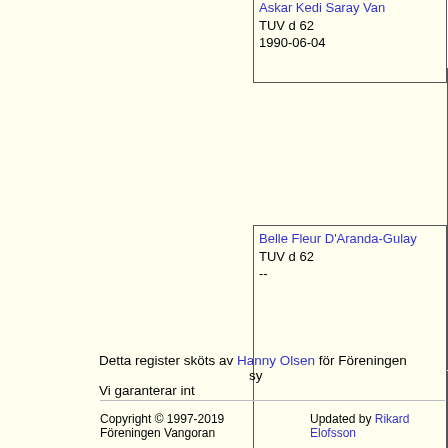[Figure (other): Partial pedigree genealogy chart showing cat ancestry. Top cell: Askar Kedi Saray Van, TUV d 62, 1990-06-04. Right top cell: Sayesinde's, TUV d 62, 1989-03-26. Middle right upper: GIC Kaba-Van P, TUV d, --. Bottom middle cell: Belle Fleur D'Aranda-Gulay, TUV d 62, --. Bottom right: Gulay The C, TUV d, --.]
Detta register sköts av Hanny Olsen för Föreningen sy Vi garanterar int
Copyright © 1997-2019 Föreningen Vangoran    Updated by Rikard Elofsson